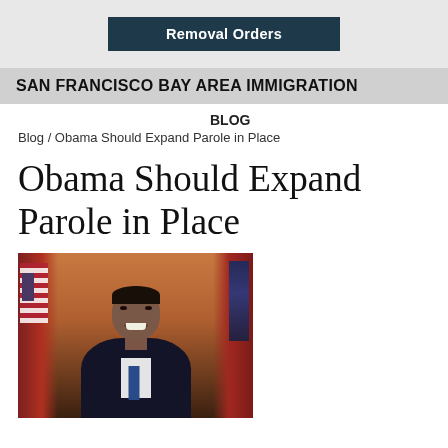Removal Orders
SAN FRANCISCO BAY AREA IMMIGRATION
BLOG
Blog / Obama Should Expand Parole in Place
Obama Should Expand Parole in Place
[Figure (photo): Official portrait photo of President Barack Obama smiling, wearing a dark suit and tie, with American flag and red curtains in the background (Oval Office setting).]